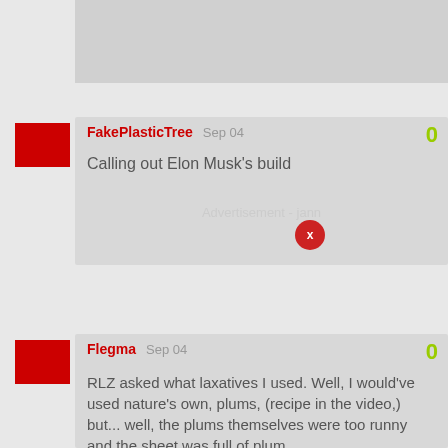[Figure (other): Gray placeholder image area at top of page]
FakePlasticTree  Sep 04
0
Calling out Elon Musk's build
Advertisement - jann
[X close button]
Flegma  Sep 04
0
RLZ asked what laxatives I used. Well, I would've used nature's own, plums, (recipe in the video,) but... well, the plums themselves were too runny and the sheet was full of plum juice and we had to discard them... Still trying